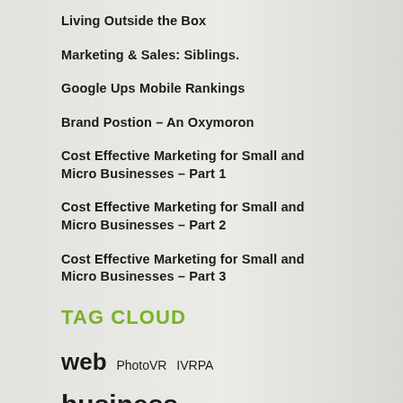Living Outside the Box
Marketing & Sales: Siblings.
Google Ups Mobile Rankings
Brand Postion – An Oxymoron
Cost Effective Marketing for Small and Micro Businesses – Part 1
Cost Effective Marketing for Small and Micro Businesses – Part 2
Cost Effective Marketing for Small and Micro Businesses – Part 3
TAG CLOUD
web  PhotoVR  IVRPA  business  Features and Benefits  Immersive Production